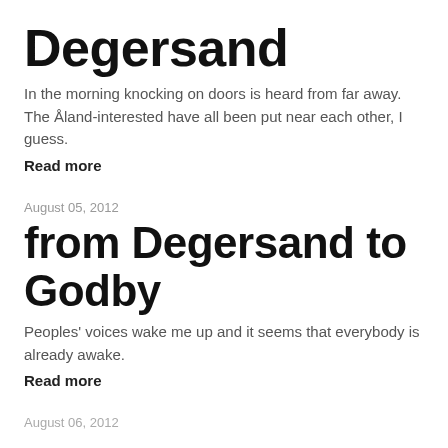Degersand
In the morning knocking on doors is heard from far away. The Åland-interested have all been put near each other, I guess.
Read more
August 05, 2012
from Degersand to Godby
Peoples' voices wake me up and it seems that everybody is already awake.
Read more
August 06, 2012